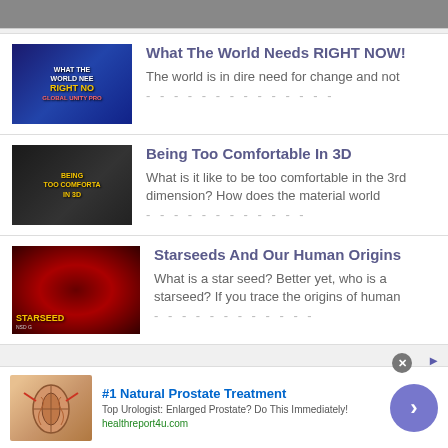[Figure (screenshot): Partial top image strip cropped at top of page]
What The World Needs RIGHT NOW! — The world is in dire need for change and not BEgin which means to rebuild that which is...
Being Too Comfortable In 3D — What is it like to be too comfortable in the 3rd dimension? How does the material world...
Starseeds And Our Human Origins — What is a star seed? Better yet, who is a starseed? If you trace the origins of human...
[Figure (infographic): Advertisement: #1 Natural Prostate Treatment. Top Urologist: Enlarged Prostate? Do This Immediately! healthreport4u.com. Shows medical illustration of prostate and a blue CTA button.]